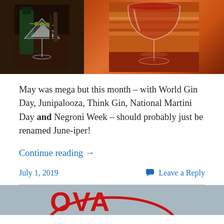[Figure (photo): Two cocktail photos side by side: left shows a martini glass with olives on a skewer in a dark bar setting; right shows a stemmed cocktail glass with red liquid on a warm wooden surface]
May was mega but this month – with World Gin Day, Junipalooza, Think Gin, National Martini Day and Negroni Week – should probably just be renamed June-iper!
Continue reading →
July 1, 2019
Leave a Reply
[Figure (photo): Partial view of a sign or logo showing 'OVA' (likely 'NOVA') in large red letters with a red oval border on a grey background]